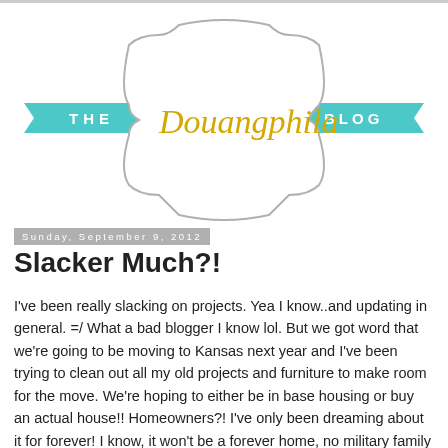[Figure (logo): The Douangphila Blog logo — script text 'Douangphila' in gold/yellow inside a decorative gray badge/frame, flanked by teal ribbon banners reading 'THE' on the left and 'BLOG' on the right]
Sunday, September 9, 2012
Slacker Much?!
I've been really slacking on projects. Yea I know..and updating in general. =/ What a bad blogger I know lol. But we got word that we're going to be moving to Kansas next year and I've been trying to clean out all my old projects and furniture to make room for the move. We're hoping to either be in base housing or buy an actual house!! Homeowners?! I've only been dreaming about it for forever! I know, it won't be a forever home, no military family has one of those right?!